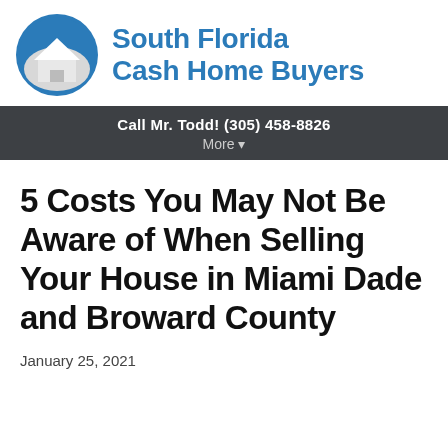[Figure (logo): South Florida Cash Home Buyers logo: circular icon with blue background and white house silhouette, next to bold blue text reading 'South Florida Cash Home Buyers']
Call Mr. Todd! (305) 458-8826
More ▾
5 Costs You May Not Be Aware of When Selling Your House in Miami Dade and Broward County
January 25, 2021